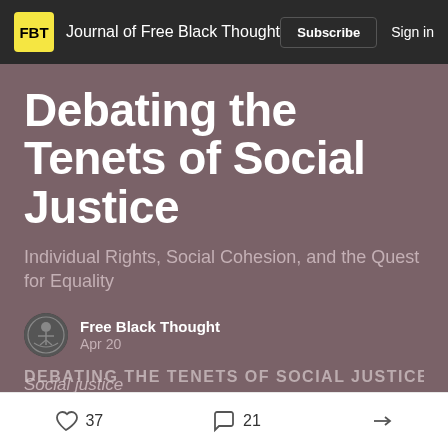FBT  Journal of Free Black Thought  Subscribe  Sign in
Debating the Tenets of Social Justice
Individual Rights, Social Cohesion, and the Quest for Equality
Free Black Thought
Apr 20
Social justice
DEBATING THE TENETS OF SOCIAL JUSTICE
37  21